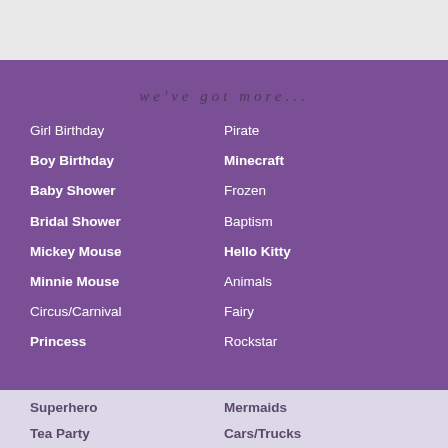we've got more...
Girl Birthday
Boy Birthday
Baby Shower
Bridal Shower
Mickey Mouse
Minnie Mouse
Circus/Carnival
Princess
Pirate
Minecraft
Frozen
Baptism
Hello Kitty
Animals
Fairy
Rockstar
Superhero
Tea Party
Mermaids
Cars/Trucks